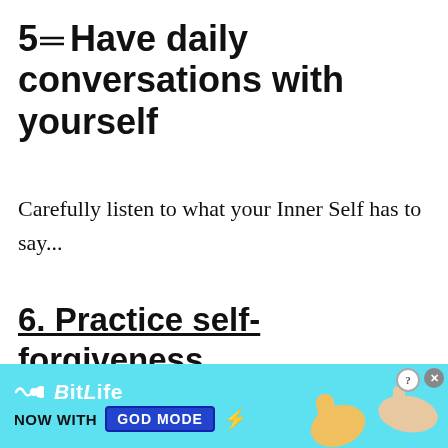5≡ Have daily conversations with yourself
Carefully listen to what your Inner Self has to say...
6. Practice self-forgiveness
Forgive yourself for holding on to resentment for so long and depriving yourself of inner
[Figure (other): BitLife advertisement banner with 'NOW WITH GOD MODE' text, lightning bolt, thumbs-up hand gesture, and pointing hand gesture on light blue background]